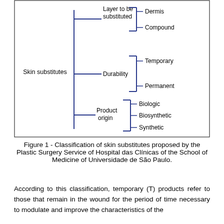[Figure (flowchart): Classification diagram of skin substitutes showing three branches: Layer to be substituted (Dermis, Compound), Durability (Temporary, Permanent), and Product origin (Biologic, Biosynthetic, Synthetic)]
Figure 1 - Classification of skin substitutes proposed by the Plastic Surgery Service of Hospital das Clínicas of the School of Medicine of Universidade de São Paulo.
According to this classification, temporary (T) products refer to those that remain in the wound for the period of time necessary to modulate and improve the characteristics of the